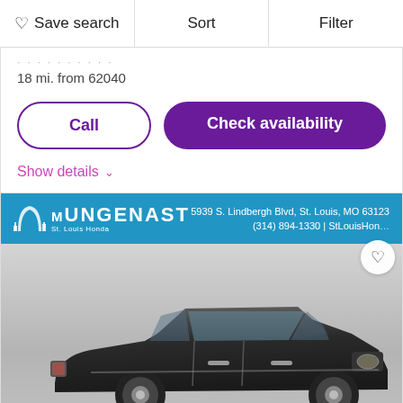Save search | Sort | Filter
18 mi. from 62040
Call
Check availability
Show details
[Figure (photo): Mungenast St. Louis Honda dealer banner with address 5939 S. Lindbergh Blvd, St. Louis, MO 63123, (314) 894-1330 | StLouisHon... followed by a photo of a black Ford Edge SUV in a showroom or studio setting.]